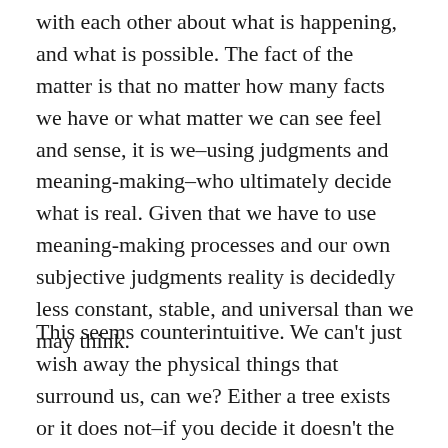with each other about what is happening, and what is possible. The fact of the matter is that no matter how many facts we have or what matter we can see feel and sense, it is we–using judgments and meaning-making–who ultimately decide what is real. Given that we have to use meaning-making processes and our own subjective judgments reality is decidedly less constant, stable, and universal than we may think.
This seems counterintuitive. We can't just wish away the physical things that surround us, can we? Either a tree exists or it does not–if you decide it doesn't the tree is no less real, right? But when we scratch below the surface of